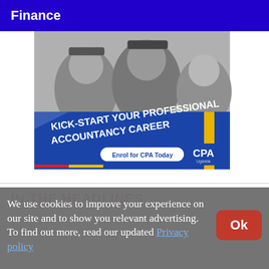Finance
[Figure (illustration): CPA Uganda advertisement showing graduates in academic gowns and caps celebrating, with blue background and text: KICK-START YOUR PROFESSIONAL ACCOUNTANCY CAREER. Enrol for CPA Today. CPA Uganda logo.]
We use cookies to improve your experience on our site and to show you relevant advertising. To find out more, read our updated Privacy policy